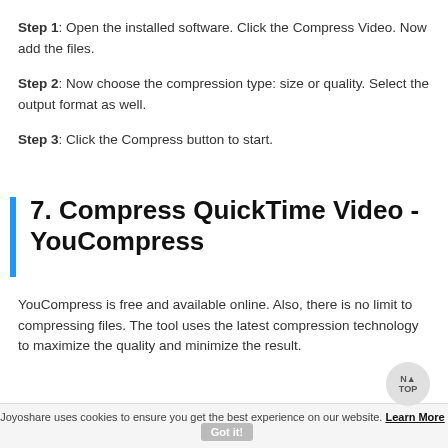Step 1: Open the installed software. Click the Compress Video. Now add the files.
Step 2: Now choose the compression type: size or quality. Select the output format as well.
Step 3: Click the Compress button to start.
7. Compress QuickTime Video - YouCompress
YouCompress is free and available online. Also, there is no limit to compressing files. The tool uses the latest compression technology to maximize the quality and minimize the result.
Joyoshare uses cookies to ensure you get the best experience on our website. Learn More  Got it!